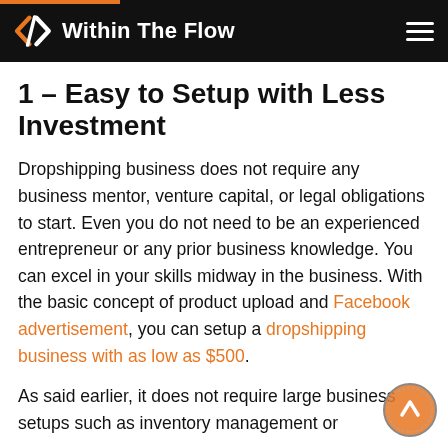Within The Flow
1 – Easy to Setup with Less Investment
Dropshipping business does not require any business mentor, venture capital, or legal obligations to start. Even you do not need to be an experienced entrepreneur or any prior business knowledge. You can excel in your skills midway in the business. With the basic concept of product upload and Facebook advertisement, you can setup a dropshipping business with as low as $500.
As said earlier, it does not require large business setups such as inventory management or